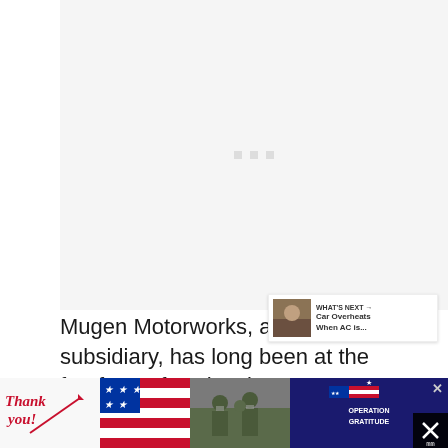[Figure (photo): Loading placeholder for an image — light gray rectangle with three small gray squares in the center indicating content is loading]
[Figure (screenshot): UI overlay with heart/like button (red circle with heart icon, count of 6) and share button (white circle with share icon) on the right side]
[Figure (screenshot): What's Next banner showing a thumbnail image of car topic with text 'WHAT'S NEXT → Car Overheats When AC is...']
Mugen Motorworks, a wholly-owned subsidiary, has long been at the forefront of t… h… b…
[Figure (screenshot): Advertisement banner at bottom: Thank you military appreciation ad with Operation Gratitude branding, close buttons]